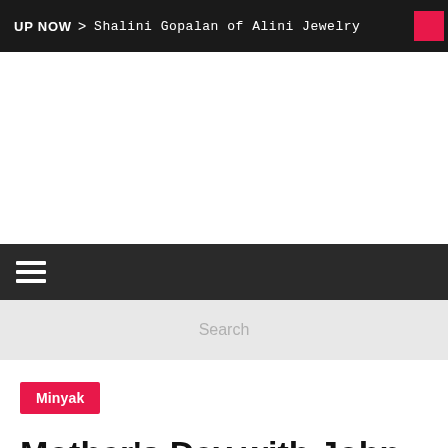UP NOW > Shalini Gopalan of Alini Jewelry
[Figure (screenshot): White empty advertisement space]
Hamburger menu navigation bar
Search
Minyak
Mother's Day with John Hardy